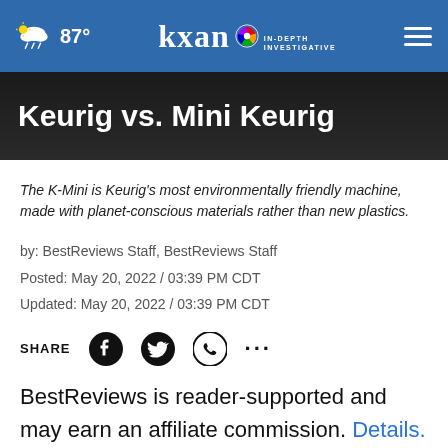87° KXAN IN-DEPTH INVESTIGATIVE
Keurig vs. Mini Keurig
The K-Mini is Keurig's most environmentally friendly machine, made with planet-conscious materials rather than new plastics.
by: BestReviews Staff, BestReviews Staff
Posted: May 20, 2022 / 03:39 PM CDT
Updated: May 20, 2022 / 03:39 PM CDT
SHARE
BestReviews is reader-supported and may earn an affiliate commission. Details.
Should I buy a Keurig K-Select...